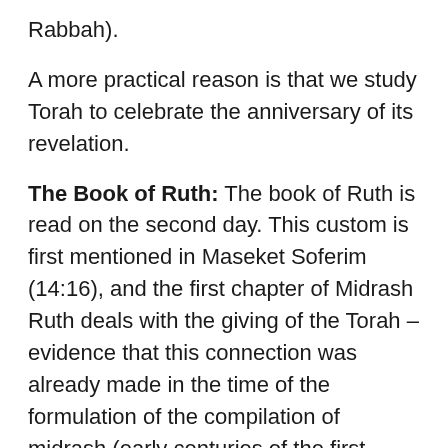Rabbah).
A more practical reason is that we study Torah to celebrate the anniversary of its revelation.
The Book of Ruth: The book of Ruth is read on the second day. This custom is first mentioned in Maseket Soferim (14:16), and the first chapter of Midrash Ruth deals with the giving of the Torah – evidence that this connection was already made in the time of the formulation of the compilation of midrash (early centuries of the first millennium, c.e.).
There are other explanations for this